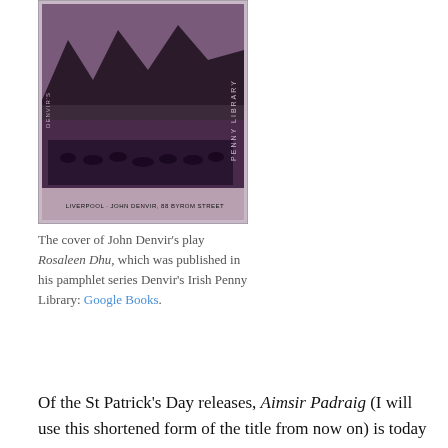[Figure (photo): Cover of John Denvir's play Rosaleen Dhu, a dark purple/violet booklet cover showing mountains and a crowd scene, with text 'PENNY LIBRARY' running vertically on the right side and 'LIVERPOOL - JOHN DENVIR, 88 BYROM STREET' at the bottom.]
The cover of John Denvir's play Rosaleen Dhu, which was published in his pamphlet series Denvir's Irish Penny Library: Google Books.
Of the St Patrick's Day releases, Aimsir Padraig (I will use this shortened form of the title from now on) is today by far the better known, largely because it still survives and has